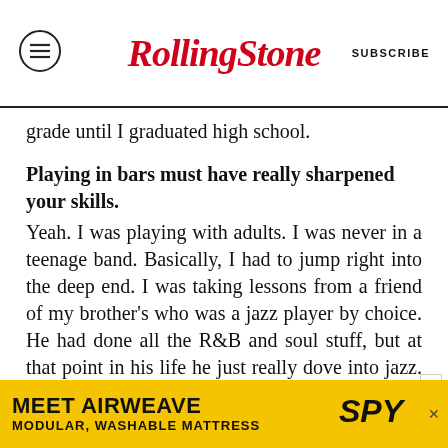RollingStone | SUBSCRIBE
grade until I graduated high school.
Playing in bars must have really sharpened your skills.
Yeah. I was playing with adults. I was never in a teenage band. Basically, I had to jump right into the deep end. I was taking lessons from a friend of my brother's who was a jazz player by choice. He had done all the R&B and soul stuff, but at that point in his life he just really dove into jazz. My first drum lessons were in jazz. He'd teach me how to play along with albums and where to put the fill and how to sing along with the melody and not get lost in the solos and how to make it swing
[Figure (infographic): Advertisement banner for Airweave: MEET AIRWEAVE, MODULAR, WASHABLE MATTRESS with SPY logo, yellow background]